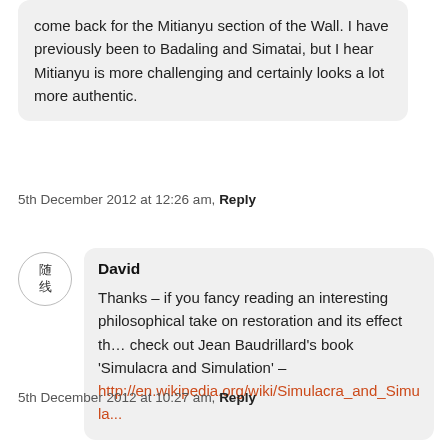come back for the Mitianyu section of the Wall. I have previously been to Badaling and Simatai, but I hear Mitianyu is more challenging and certainly looks a lot more authentic.
5th December 2012 at 12:26 am, Reply
David
Thanks – if you fancy reading an interesting philosophical take on restoration and its effect th… check out Jean Baudrillard's book 'Simulacra and Simulation' – http://en.wikipedia.org/wiki/Simulacra_and_Simula...
5th December 2012 at 10:27 am, Reply
Leave a Reply